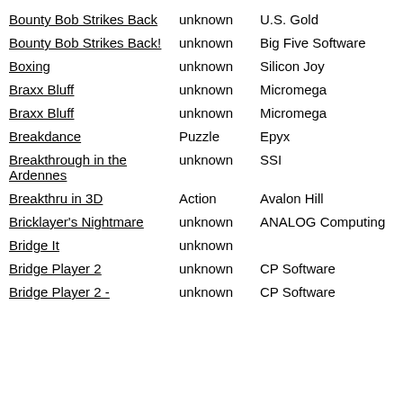Bounty Bob Strikes Back | unknown | U.S. Gold
Bounty Bob Strikes Back! | unknown | Big Five Software
Boxing | unknown | Silicon Joy
Braxx Bluff | unknown | Micromega
Braxx Bluff | unknown | Micromega
Breakdance | Puzzle | Epyx
Breakthrough in the Ardennes | unknown | SSI
Breakthru in 3D | Action | Avalon Hill
Bricklayer's Nightmare | unknown | ANALOG Computing
Bridge It | unknown |
Bridge Player 2 | unknown | CP Software
Bridge Player 2 - | unknown | CP Software